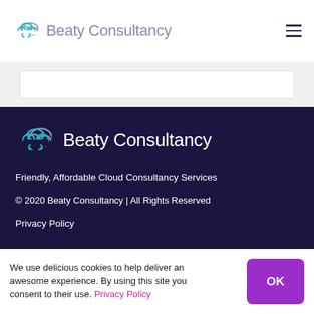Beaty Consultancy
[Figure (logo): Beaty Consultancy logo with cloud icon in header]
[Figure (logo): Beaty Consultancy logo with cloud icon in footer]
Friendly, Affordable Cloud Consultancy Services
© 2020 Beaty Consultancy | All Rights Reserved
Privacy Policy
We use delicious cookies to help deliver an awesome experience. By using this site you consent to their use. Privacy Policy